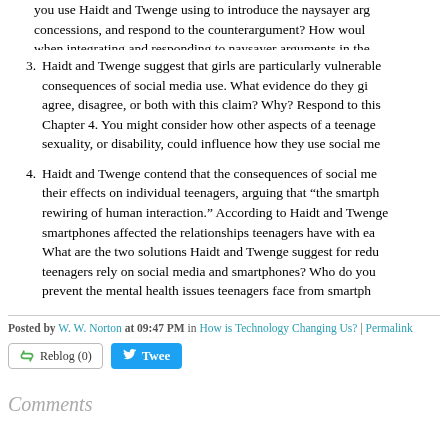you use Haidt and Twenge using to introduce the naysayer argument, make concessions, and respond to the counterargument? How would you do differently when integrating and responding to naysayer arguments in the...
3. Haidt and Twenge suggest that girls are particularly vulnerable to the consequences of social media use. What evidence do they give? Do you agree, disagree, or both with this claim? Why? Respond to this claim using Chapter 4. You might consider how other aspects of a teenager's life, such as sexuality, or disability, could influence how they use social me...
4. Haidt and Twenge contend that the consequences of social me... extend beyond their effects on individual teenagers, arguing that “the smartphone... rewiring of human interaction.” According to Haidt and Twenge, how have smartphones affected the relationships teenagers have with ea... What are the two solutions Haidt and Twenge suggest for redu... teenagers rely on social media and smartphones? Who do you... prevent the mental health issues teenagers face from smartphe...
Posted by W. W. Norton at 09:47 PM in How is Technology Changing Us? | Permalink
Reblog (0)  Tweet
Comments